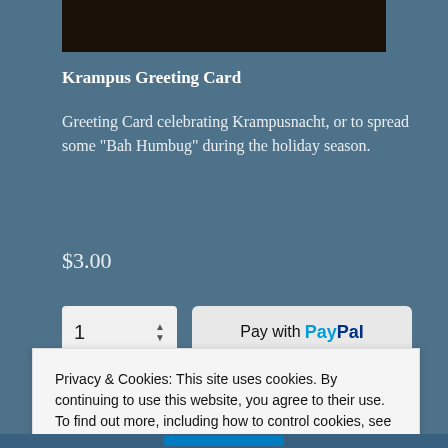[Figure (photo): Dark photograph strip at top of product page]
Krampus Greeting Card
Greeting Card celebrating Krampusnacht, or to spread some "Bah Humbug" during the holiday season.
$3.00
[Figure (screenshot): Quantity selector showing 1, and PayPal pay button, with payment card logos below]
Privacy & Cookies: This site uses cookies. By continuing to use this website, you agree to their use.
To find out more, including how to control cookies, see here: Cookie Policy
Close and accept